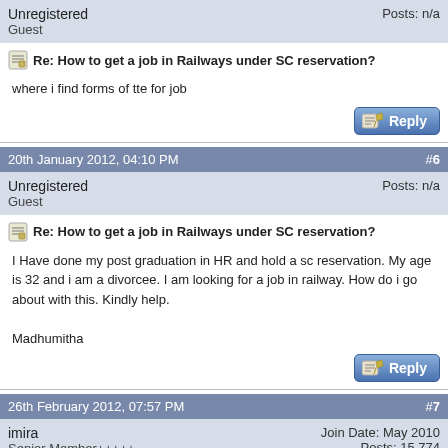Unregistered
Guest
Posts: n/a
Re: How to get a job in Railways under SC reservation?
where i find forms of tte for job
20th January 2012, 04:10 PM  #6
Unregistered
Guest
Posts: n/a
Re: How to get a job in Railways under SC reservation?
I Have done my post graduation in HR and hold a sc reservation. My age is 32 and i am a divorcee. I am looking for a job in railway. How do i go about with this. Kindly help.

Madhumitha
26th February 2012, 07:57 PM  #7
imira
Senior Member+++++
Join Date: May 2010
Posts: 15,774
Re: How to get a job in Railways under SC reservation?